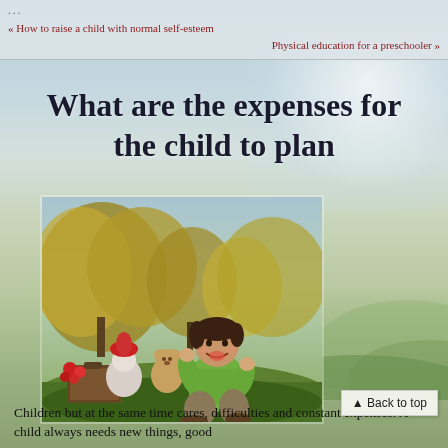...
« How to raise a child with normal self-esteem
Physical education for a preschooler »
What are the expenses for the child to plan
[Figure (photo): A young boy in a green hoodie sitting on grass outdoors, laughing and playing with toys and food items around him, autumn trees in background]
Children but at the same time cares, difficulties and constant expenses. A child always needs new things, good